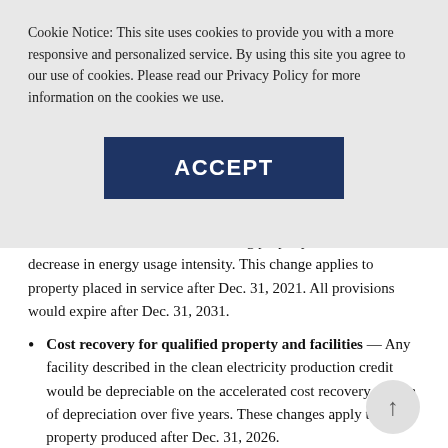Cookie Notice: This site uses cookies to provide you with a more responsive and personalized service. By using this site you agree to our use of cookies. Please read our Privacy Policy for more information on the cookies we use.
[Figure (other): ACCEPT button — dark navy blue rectangle with white bold uppercase text 'ACCEPT']
be created for certain retrofit building property, based on decrease in energy usage intensity. This change applies to property placed in service after Dec. 31, 2021. All provisions would expire after Dec. 31, 2031.
Cost recovery for qualified property and facilities — Any facility described in the clean electricity production credit would be depreciable on the accelerated cost recovery system of depreciation over five years. These changes apply to property produced after Dec. 31, 2026.
Private tax credit for clean energy — The House...